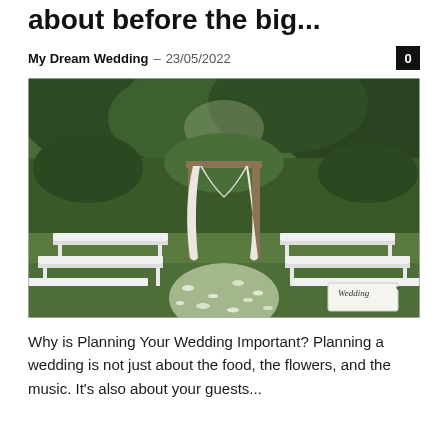about before the big...
My Dream Wedding – 23/05/2022
[Figure (photo): Outdoor wedding ceremony setup with a white draped arch, white bench seats on either side forming an aisle covered in white flower petals, surrounded by green trees. A 'Wedding' sign is visible on the right.]
Why is Planning Your Wedding Important? Planning a wedding is not just about the food, the flowers, and the music. It's also about your guests...